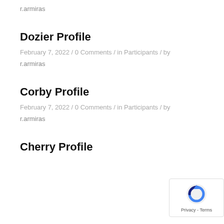r.armiras
Dozier Profile
February 7, 2022 / 0 Comments / in Participants / by
r.armiras
Corby Profile
February 7, 2022 / 0 Comments / in Participants / by
r.armiras
Cherry Profile
[Figure (logo): reCAPTCHA badge with blue/dark reCAPTCHA icon and text Privacy - Terms]